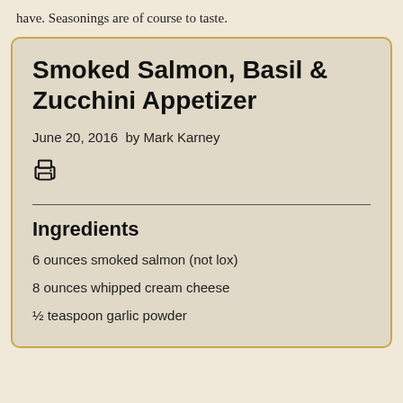have. Seasonings are of course to taste.
Smoked Salmon, Basil & Zucchini Appetizer
June 20, 2016  by Mark Karney
[Figure (other): Print icon (printer symbol)]
Ingredients
6 ounces smoked salmon (not lox)
8 ounces whipped cream cheese
½ teaspoon garlic powder